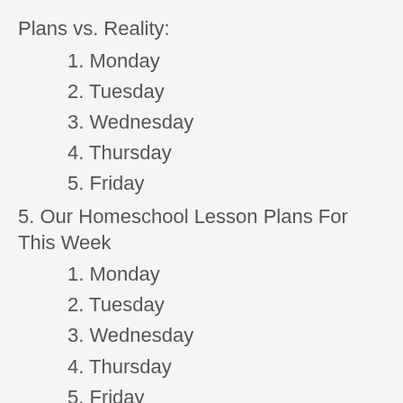Plans vs. Reality:
1. Monday
2. Tuesday
3. Wednesday
4. Thursday
5. Friday
5. Our Homeschool Lesson Plans For This Week
1. Monday
2. Tuesday
3. Wednesday
4. Thursday
5. Friday
6. New Interest-Led Homeschool